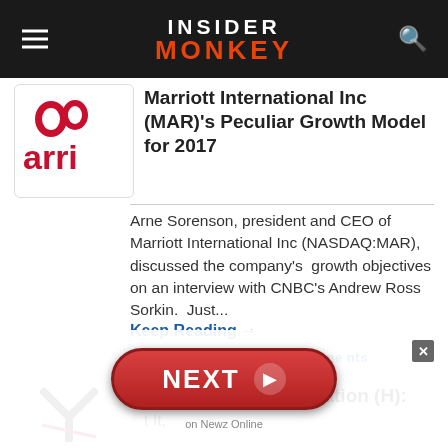INSIDER MONKEY
[Figure (logo): Marriott logo - partial red and white logo showing 'arri' text]
Marriott International Inc (MAR)'s Peculiar Growth Model for 2017
Arne Sorenson, president and CEO of Marriott International Inc (NASDAQ:MAR), discussed the company's growth objectives on an interview with CNBC's Andrew Ross Sorkin.  Just...
Keep Reading →
September 8 - News - Comments
[Figure (logo): Hyatt Hotels logo - partial showing Y letter with red accent]
Hyatt Hotels Corporation (H):
t It,
[Figure (other): NEXT button overlay - red rounded pill button with NEXT text and arrow, with close button (x)]